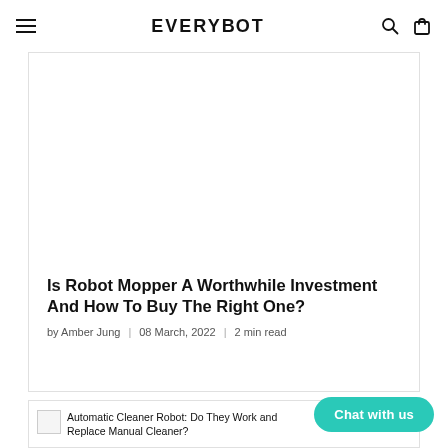EVERYBOT
[Figure (other): Large blank white image area inside article card, placeholder for an article hero image]
Is Robot Mopper A Worthwhile Investment And How To Buy The Right One?
by Amber Jung | 08 March, 2022 | 2 min read
[Figure (photo): Automatic Cleaner Robot: Do They Work and Replace Manual Cleaner?]
Chat with us